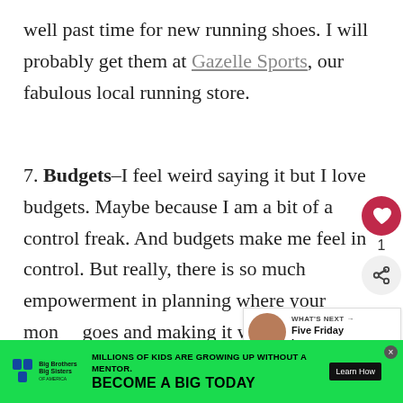well past time for new running shoes. I will probably get them at Gazelle Sports, our fabulous local running store.
7. Budgets–I feel weird saying it but I love budgets. Maybe because I am a bit of a control freak. And budgets make me feel in control. But really, there is so much empowerment in planning where your money goes and making it work for you, not against you. Nate and I have a plan to save some new furniture in the near-ish future and
[Figure (other): Big Brothers Big Sisters advertisement banner at the bottom of the page reading 'MILLIONS OF KIDS ARE GROWING UP WITHOUT A MENTOR. BECOME A BIG TODAY' with a Learn How button.]